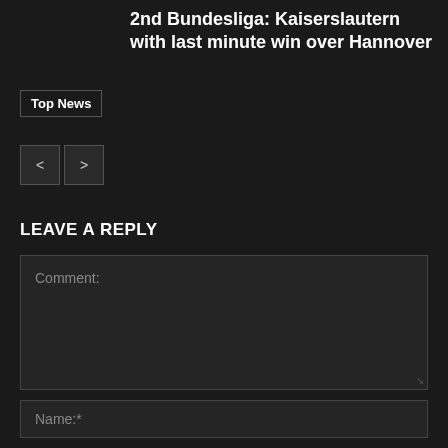2nd Bundesliga: Kaiserslautern with last minute win over Hannover
Top News
[Figure (other): Navigation buttons with left and right chevron arrows]
LEAVE A REPLY
Comment:
Name:*